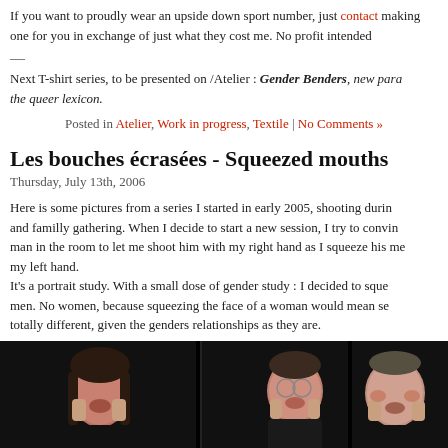If you want to proudly wear an upside down sport number, just contact making one for you in exchange of just what they cost me. No profit intended
—
Next T-shirt series, to be presented on /Atelier : Gender Benders, new para the queer lexicon.
Posted in Atelier, Work in progress, Textile | No Comments »
Les bouches écrasées - Squeezed mouths
Thursday, July 13th, 2006
Here is some pictures from a series I started in early 2005, shooting during and familly gathering. When I decide to start a new session, I try to convin man in the room to let me shoot him with my right hand as I squeeze his me my left hand.
It's a portrait study. With a small dose of gender study : I decided to sque men. No women, because squeezing the face of a woman would mean se totally different, given the genders relationships as they are.
[Figure (photo): Three black and white/dark photos of men with their faces squeezed, arranged in a horizontal strip]